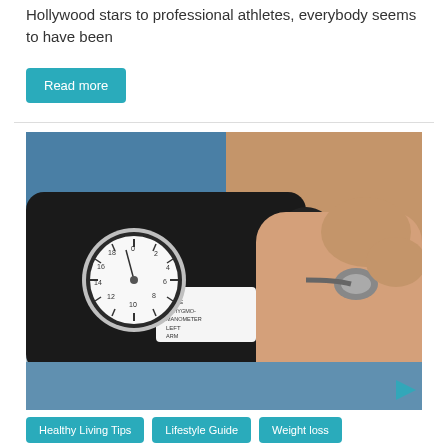Hollywood stars to professional athletes, everybody seems to have been
Read more
[Figure (photo): Close-up photo of a person's arm having blood pressure measured with a sphygmomanometer cuff. A healthcare provider's hands are positioning the cuff and stethoscope on the patient's inner arm. The circular pressure gauge is visible on the left side of the cuff.]
Healthy Living Tips
Lifestyle Guide
Weight loss